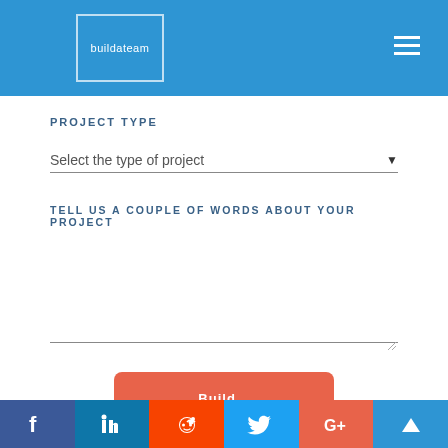buildateam
PROJECT TYPE
Select the type of project
TELL US A COUPLE OF WORDS ABOUT YOUR PROJECT
Facebook | LinkedIn | Reddit | Twitter | Google+ | Product Hunt